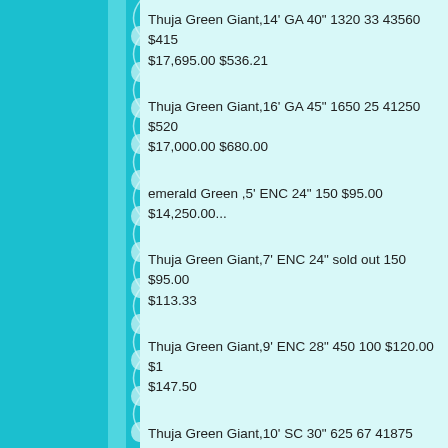Thuja Green Giant,14' GA 40" 1320 33 43560 $415... $17,695.00 $536.21
Thuja Green Giant,16' GA 45" 1650 25 41250 $520... $17,000.00 $680.00
emerald Green ,5' ENC 24" 150 $95.00 $14,250.00...
Thuja Green Giant,7' ENC 24" sold out 150 $95.00 $113.33
Thuja Green Giant,9' ENC 28" 450 100 $120.00 $1... $147.50
Thuja Green Giant,10' SC 30" 625 67 41875 $175.0... $15,725.00 $234.70